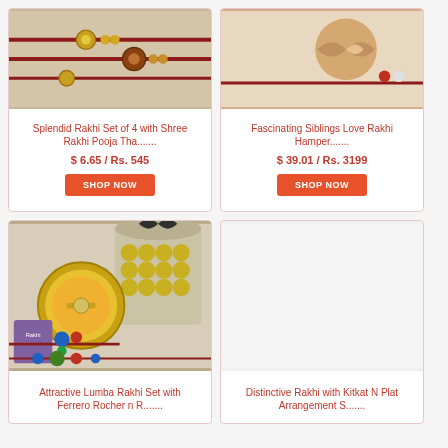[Figure (photo): Splendid Rakhi Set of 4 product photo showing decorative rakhis]
Splendid Rakhi Set of 4 with Shree Rakhi Pooja Tha.......
$ 6.65 / Rs. 545
[Figure (photo): Fascinating Siblings Love Rakhi Hamper product photo]
Fascinating Siblings Love Rakhi Hamper.......
$ 39.01 / Rs. 3199
[Figure (photo): Attractive Lumba Rakhi Set with Ferrero Rocher product photo]
Attractive Lumba Rakhi Set with Ferrero Rocher n R.......
[Figure (photo): Distinctive Rakhi with Kitkat N Plat Arrangement - empty/loading image]
Distinctive Rakhi with Kitkat N Plat Arrangement S.......